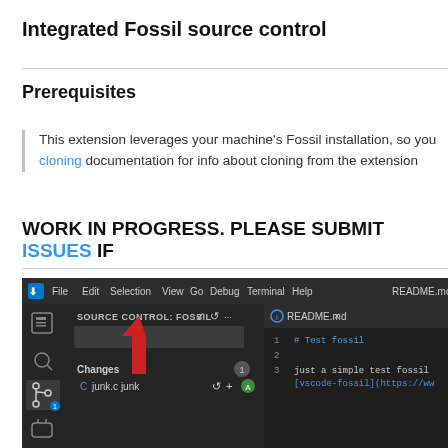Integrated Fossil source control
Prerequisites
This extension leverages your machine's Fossil installation, so you cloning documentation for info about cloning from the extension
WORK IN PROGRESS. PLEASE SUBMIT ISSUES IF
[Figure (screenshot): Screenshot of Visual Studio Code with the Source Control: Fossil panel open, showing a red arrow pointing to the SOURCE CONTROL: FOSSIL label. The editor shows a README.md file with test fossil content.]